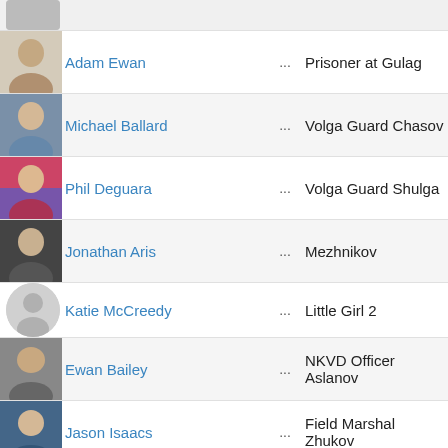| Photo | Name | ... | Role |
| --- | --- | --- | --- |
| [photo] | Adam Ewan | ... | Prisoner at Gulag |
| [photo] | Michael Ballard | ... | Volga Guard Chasov |
| [photo] | Phil Deguara | ... | Volga Guard Shulga |
| [photo] | Jonathan Aris | ... | Mezhnikov |
| [placeholder] | Katie McCreedy | ... | Little Girl 2 |
| [photo] | Ewan Bailey | ... | NKVD Officer Aslanov |
| [photo] | Jason Isaacs | ... | Field Marshal Zhukov |
| [placeholder] | Leeroy Murray | ... | Zhukov's Chief of Staff |
| [placeholder] | Keely Smith | ... | Teenage Ostrich Girl |
| [placeholder] | Sheng-Chien Tsai | ... | Translator |
| [photo] | Dave Wong | ... | Zhou Enlai |
| [placeholder] | Sergey Korshkov | ... | NKVD Officer Fedin |